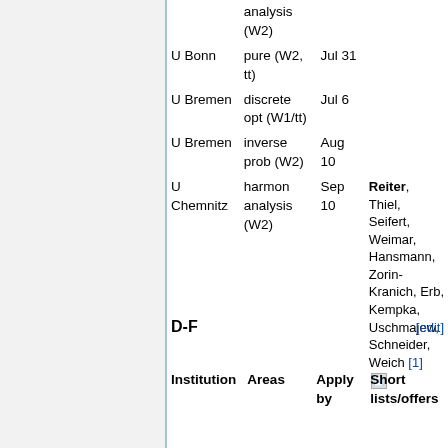| Institution | Areas | Apply by | Short lists/offers |
| --- | --- | --- | --- |
|  | analysis (W2) |  |  |
| U Bonn | pure (W2, tt) | Jul 31 |  |
| U Bremen | discrete opt (W1/tt) | Jul 6 |  |
| U Bremen | inverse prob (W2) | Aug 10 |  |
| U Chemnitz | harmon analysis (W2) | Sep 10 | Reiter, Thiel, Seifert, Weimar, Hansmann, Zorin-Kranich, Erb, Kempka, Uschmajew, Schneider, Weich [1] |
D-F
| Institution | Areas | Apply by | Short lists/offers |
| --- | --- | --- | --- |